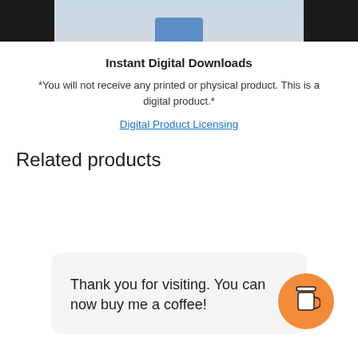[Figure (photo): Partial top image of a product with black bars on left and right, blue/teal item visible in center]
Instant Digital Downloads
*You will not receive any printed or physical product. This is a digital product.*
Digital Product Licensing
Related products
Thank you for visiting. You can now buy me a coffee!